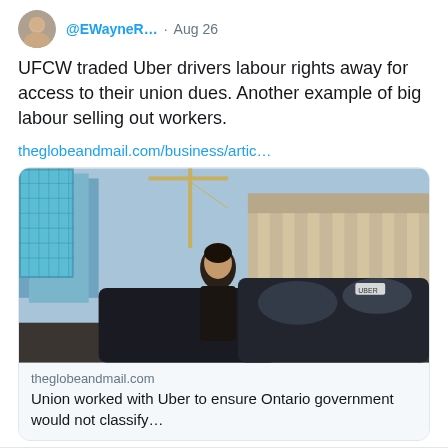[Figure (screenshot): Twitter/social media post screenshot showing user @EWayneR... dated Aug 26 with tweet text, a link to theglobeandmail.com, and an embedded article card with a photo of a woman getting into an Uber vehicle in a city street]
@EWayneR... · Aug 26
UFCW traded Uber drivers labour rights away for access to their union dues. Another example of big labour selling out workers.
theglobeandmail.com/business/artic…
theglobeandmail.com
Union worked with Uber to ensure Ontario government would not classify…